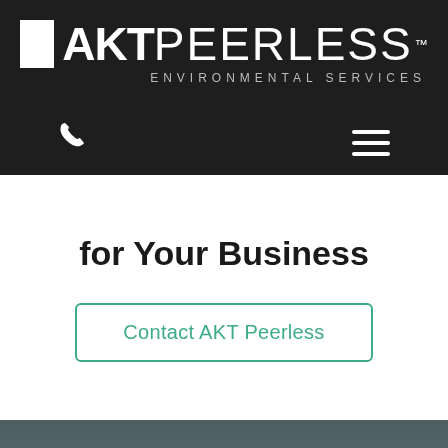[Figure (logo): AKT Peerless Environmental Services logo — white square block followed by bold 'AKT' and light-weight 'PEERLESS' text with trademark symbol, subtitle 'ENVIRONMENTAL SERVICES' in spaced caps, on dark background]
[Figure (screenshot): Navigation bar with phone icon on left and hamburger menu icon on right, white icons on dark background]
for Your Business
Contact AKT Peerless
[Figure (photo): Aerial landscape photo with dark overcast sky and green treetops, used as background for news card section]
News
AKT Peerless Opens New Office and Expands Team in Chi...